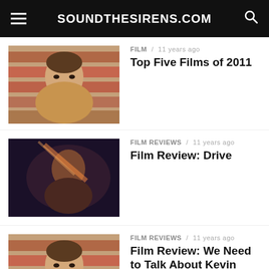SOUNDTHESIRENS.COM
FILM / 11 years ago
Top Five Films of 2011
FILM REVIEWS / 11 years ago
Film Review: Drive
FILM REVIEWS / 11 years ago
Film Review: We Need to Talk About Kevin
FILM REVIEWS / 11 years ago
Film Review: Hanna